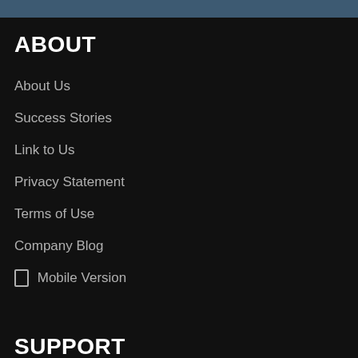ABOUT
About Us
Success Stories
Link to Us
Privacy Statement
Terms of Use
Company Blog
Mobile Version
SUPPORT
Help